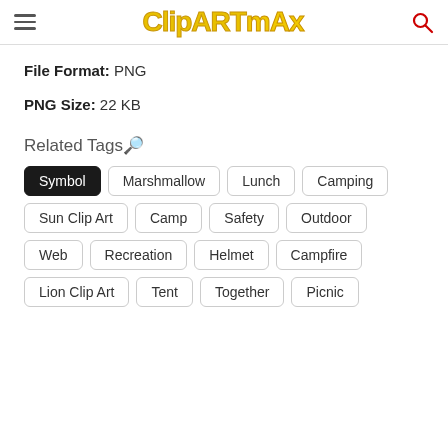ClipartMax
File Format:  PNG
PNG Size:  22 KB
Related Tags🔎
Symbol
Marshmallow
Lunch
Camping
Sun Clip Art
Camp
Safety
Outdoor
Web
Recreation
Helmet
Campfire
Lion Clip Art
Tent
Together
Picnic